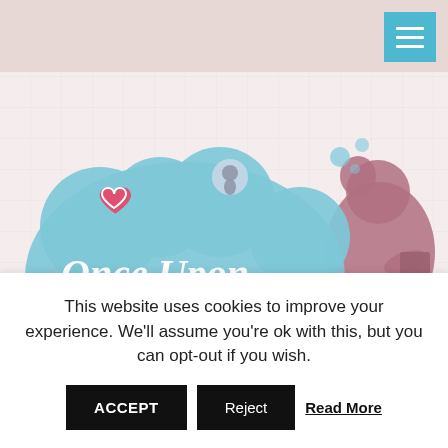[Figure (logo): Once Upon a Chapter blog logo: blue cloud shape with fairy tale icons (heart, dragon, girl reading silhouette) and white serif text reading 'Once Upon a Chapter']
Monthly Archives: October 2013
Smoke
This website uses cookies to improve your experience. We'll assume you're ok with this, but you can opt-out if you wish.
ACCEPT   Reject   Read More